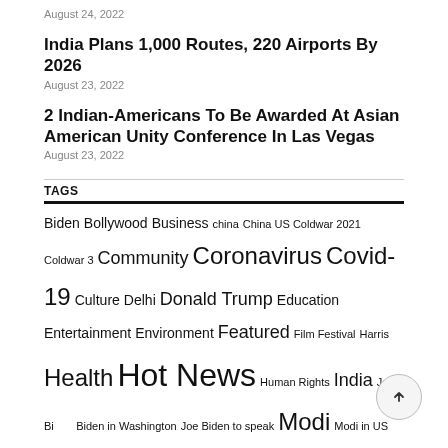August 24, 2022
India Plans 1,000 Routes, 220 Airports By 2026
August 23, 2022
2 Indian-Americans To Be Awarded At Asian American Unity Conference In Las Vegas
August 23, 2022
TAGS
Biden Bollywood Business china China US Coldwar 2021 Coldwar 3 Community Coronavirus Covid-19 Culture Delhi Donald Trump Education Entertainment Environment Featured Film Festival Harris Health Hot News Human Rights India Joe Biden Joe Biden in Washington Joe Biden to speak Modi Modi in US More News Online PM Modi PM Modi in New Delhi PM Modi in Washington Politics Quad Summit Religion Science